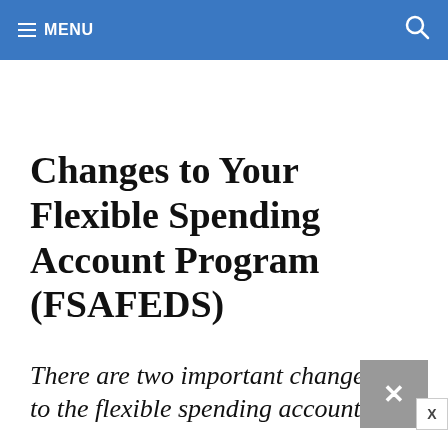MENU
Changes to Your Flexible Spending Account Program (FSAFEDS)
There are two important changes to the flexible spending account